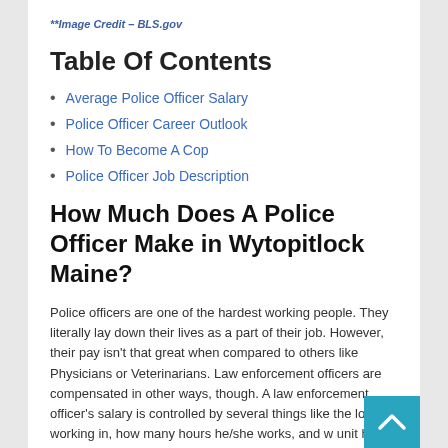**Image Credit – BLS.gov
Table Of Contents
Average Police Officer Salary
Police Officer Career Outlook
How To Become A Cop
Police Officer Job Description
How Much Does A Police Officer Make in Wytopitlock Maine?
Police officers are one of the hardest working people. They literally lay down their lives as a part of their job. However, their pay isn't that great when compared to others like Physicians or Veterinarians. Law enforcement officers are compensated in other ways, though. A law enforcement officer's salary is controlled by several things like the lo... he is working in, how many hours he/she works, and w... unit he is working under. We will now proceed to show the